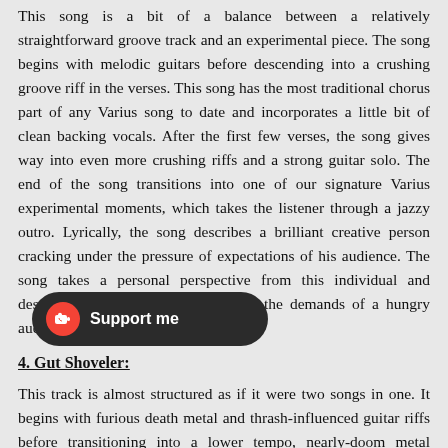This song is a bit of a balance between a relatively straightforward groove track and an experimental piece. The song begins with melodic guitars before descending into a crushing groove riff in the verses. This song has the most traditional chorus part of any Varius song to date and incorporates a little bit of clean backing vocals. After the first few verses, the song gives way into even more crushing riffs and a strong guitar solo. The end of the song transitions into one of our signature Varius experimental moments, which takes the listener through a jazzy outro. Lyrically, the song describes a brilliant creative person cracking under the pressure of expectations of his audience. The song takes a personal perspective from this individual and describes the burden of living up to the demands of a hungry audience.
4. Gut Shoveler:
This track is almost structured as if it were two songs in one. It begins with furious death metal and thrash-influenced guitar riffs before transitioning into a lower tempo, nearly-doom metal groove featuring c... ng's dynamics go through the motions from slumming metal to atmospheric, ambient and acoustic sounds by...
[Figure (other): A 'Support me' button overlay with a red heart/coffee cup icon on dark rounded pill background]